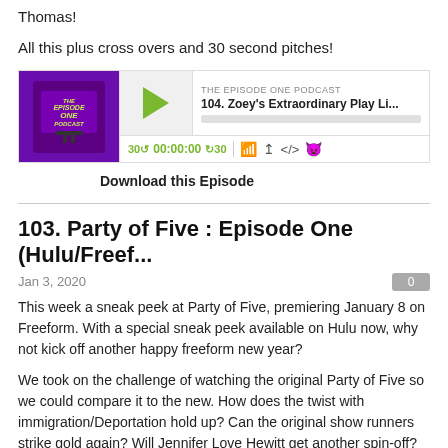Thomas!
All this plus cross overs and 30 second pitches!
[Figure (screenshot): Podcast audio player widget for 'The Episode One Podcast' showing episode '104. Zoey's Extraordinary Play Li...' with play button, time display 00:00:00, skip controls, and podcast logo.]
Download this Episode
103. Party of Five : Episode One (Hulu/Freef...
Jan 3, 2020
This week a sneak peek at Party of Five, premiering January 8 on Freeform. With a special sneak peek available on Hulu now, why not kick off another happy freeform new year?
We took on the challenge of watching the original Party of Five so we could compare it to the new. How does the twist with immigration/Deportation hold up? Can the original show runners strike gold again? Will Jennifer Love Hewitt get another spin-off?
All those plus some great cross-overs, and you won't want to miss Chris's